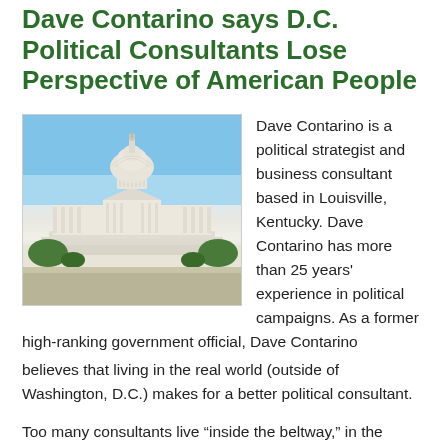Dave Contarino says D.C. Political Consultants Lose Perspective of American People
[Figure (photo): Photograph of the United States Capitol building with blue sky in the background]
Dave Contarino is a political strategist and business consultant based in Louisville, Kentucky. Dave Contarino has more than 25 years' experience in political campaigns. As a former high-ranking government official, Dave Contarino believes that living in the real world (outside of Washington, D.C.) makes for a better political consultant.
Too many consultants live “inside the beltway,” in the supercharged world of Washington, D.C., consuming and trading political news and gossip all day long, says Dave Contarino. Even